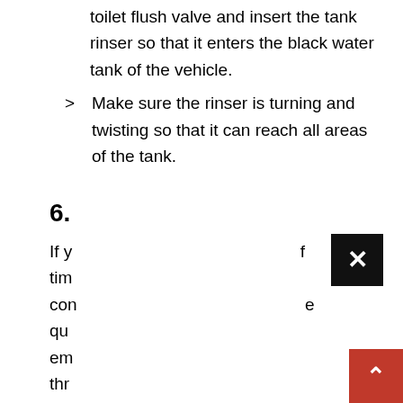toilet flush valve and insert the tank rinser so that it enters the black water tank of the vehicle.
Make sure the rinser is turning and twisting so that it can reach all areas of the tank.
6.
If y f tim con e qu em thr ind i,